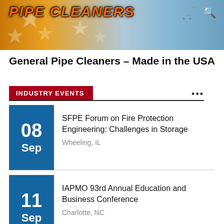[Figure (screenshot): Website banner header with orange to blue gradient background, white stars pattern, and orange italic bold text reading 'PIPE CLEANERS' with shopping cart and search icons in the top right corner.]
General Pipe Cleaners - Made in the USA
INDUSTRY EVENTS
08 Sep - SFPE Forum on Fire Protection Engineering: Challenges in Storage - Wheeling, IL
11 Sep - IAPMO 93rd Annual Education and Business Conference - Charlotte, NC